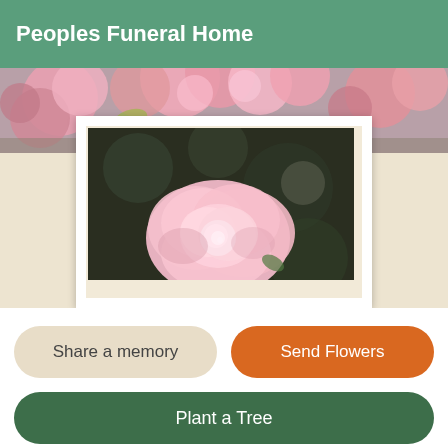Peoples Funeral Home
[Figure (photo): Framed photo of a pink rose bloom with dark background, displayed with white frame, set against a floral banner of pink roses at the top]
Share a memory
Send Flowers
Plant a Tree